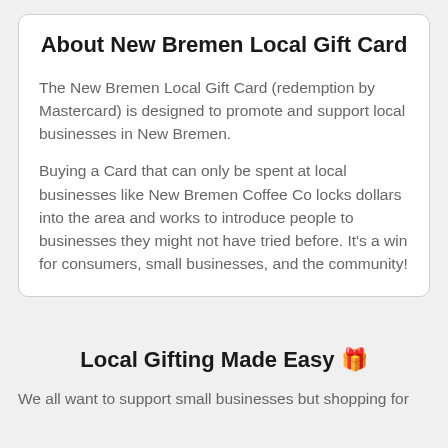About New Bremen Local Gift Card
The New Bremen Local Gift Card (redemption by Mastercard) is designed to promote and support local businesses in New Bremen.
Buying a Card that can only be spent at local businesses like New Bremen Coffee Co locks dollars into the area and works to introduce people to businesses they might not have tried before. It's a win for consumers, small businesses, and the community!
Local Gifting Made Easy 🎁
We all want to support small businesses but shopping for